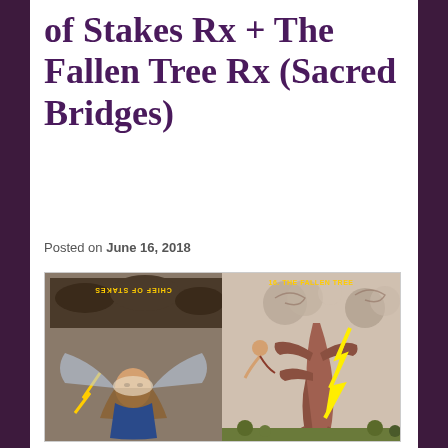of Stakes Rx + The Fallen Tree Rx (Sacred Bridges)
Posted on June 16, 2018
[Figure (photo): Two tarot cards side by side: left card shows 'Chief of Stakes' reversed (upside down figure), right card shows '16. The Fallen Tree' with a tree struck by lightning and figures falling amid swirling clouds]